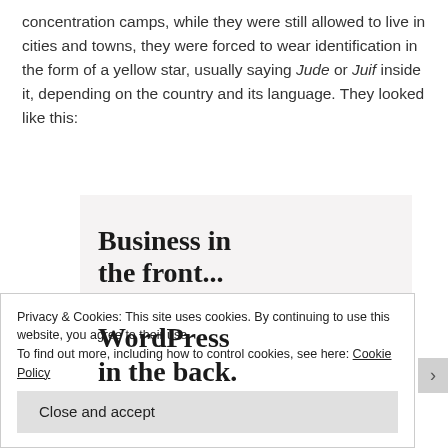concentration camps, while they were still allowed to live in cities and towns, they were forced to wear identification in the form of a yellow star, usually saying Jude or Juif inside it, depending on the country and its language. They looked like this:
[Figure (screenshot): Advertisement screenshot showing 'Business in the front...' text on a light background at top, and 'WordPress in the back.' text on an orange/pink gradient background at bottom]
Privacy & Cookies: This site uses cookies. By continuing to use this website, you agree to their use.
To find out more, including how to control cookies, see here: Cookie Policy
Close and accept